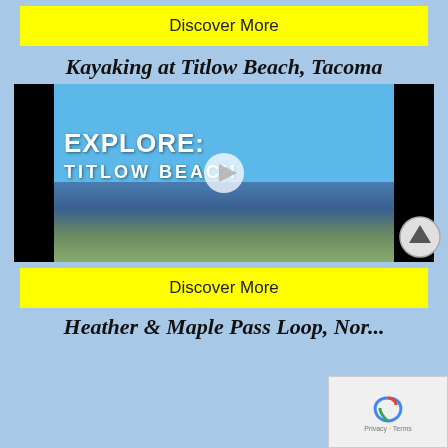Discover More
Kayaking at Titlow Beach, Tacoma
[Figure (screenshot): Video thumbnail showing kayaking at Titlow Beach with text 'EXPLORE: TITLOW BEACH' and a play button overlay. Scene shows water, shoreline, and blue sky.]
Discover More
Heather & Maple Pass Loop, Nor...